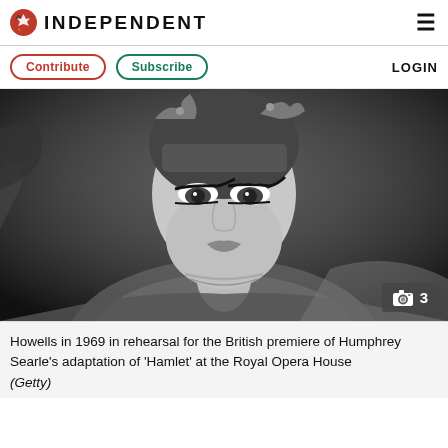INDEPENDENT
Contribute  Subscribe  LOGIN
[Figure (photo): Black and white photograph of a woman (Howells) in theatrical costume with ornate headdress, heavy stage makeup including dramatic eye liner, wearing jewelry and a decorative costume, photographed in 1969 in rehearsal for the British premiere of Humphrey Searle's adaptation of Hamlet at the Royal Opera House. A camera icon with the number 3 appears in the bottom right corner.]
Howells in 1969 in rehearsal for the British premiere of Humphrey Searle's adaptation of 'Hamlet' at the Royal Opera House
(Getty)